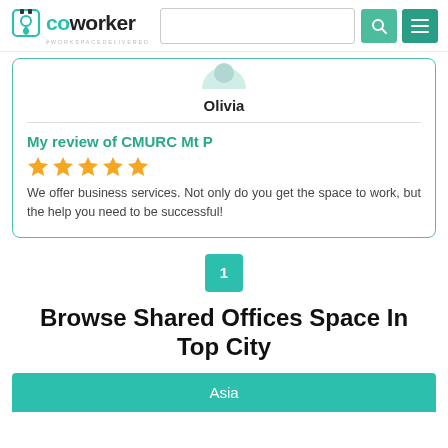coworker #WORKSPACEDELIVERED
Olivia
My review of CMURC Mt P
[Figure (other): Five orange star rating icons]
We offer business services. Not only do you get the space to work, but the help you need to be successful!
1
Browse Shared Offices Space In Top City
Asia